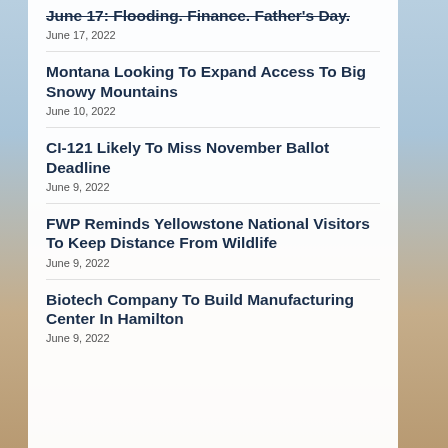June 17: Flooding. Finance. Father's Day.
June 17, 2022
Montana Looking To Expand Access To Big Snowy Mountains
June 10, 2022
CI-121 Likely To Miss November Ballot Deadline
June 9, 2022
FWP Reminds Yellowstone National Visitors To Keep Distance From Wildlife
June 9, 2022
Biotech Company To Build Manufacturing Center In Hamilton
June 9, 2022